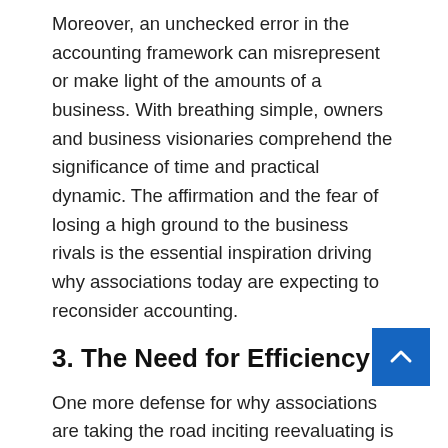Moreover, an unchecked error in the accounting framework can misrepresent or make light of the amounts of a business. With breathing simple, owners and business visionaries comprehend the significance of time and practical dynamic. The affirmation and the fear of losing a high ground to the business rivals is the essential inspiration driving why associations today are expecting to reconsider accounting.
3. The Need for Efficiency
One more defense for why associations are taking the road inciting reevaluating is an immediate consequence of the prerequisite for more capability. Searching for advantage associations